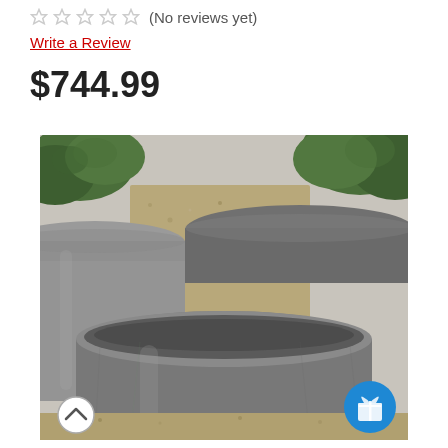(No reviews yet)
Write a Review
$744.99
[Figure (photo): Three large cylindrical concrete/stone planters with rough grey textured surface, shown outdoors on gravel with boxwood shrubs in background. A blue gift icon button and a scroll-up arrow button are overlaid on the image.]